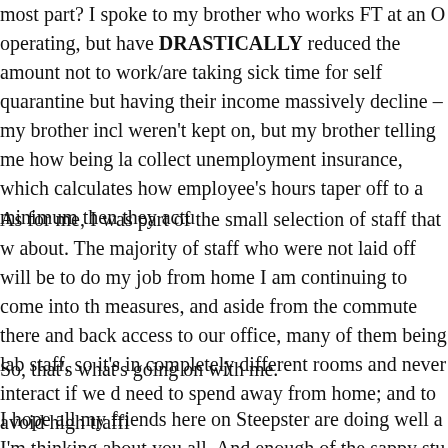most part? I spoke to my brother who works FT at an O operating, but have DRASTICALLY reduced the amount not to work/are taking sick time for self quarantine but having their income massively decline – my brother incl weren't kept on, but my brother telling me how being la collect unemployment insurance, which calculates how employee's hours taper off to a minimum then they actu
As for me, I was part of the small selection of staff that w about. The majority of staff who were not laid off will be to do my job from home I am continuing to come into th measures, and aside from the commute there and back access to our office, many of them being lab staff, so it's in completely different rooms and never interact if we d need to spend away from home; and to avoid high traffi
So, that's what's going on with me.
I hope all my friends here on Steepster are doing well a I'm thinking about you all. And enough of the sappy stu
I made this cup with some peppermint agave, which ma